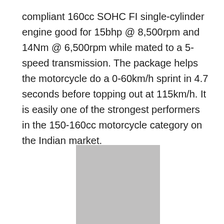compliant 160cc SOHC FI single-cylinder engine good for 15bhp @ 8,500rpm and 14Nm @ 6,500rpm while mated to a 5-speed transmission. The package helps the motorcycle do a 0-60km/h sprint in 4.7 seconds before topping out at 115km/h. It is easily one of the strongest performers in the 150-160cc motorcycle category on the Indian market.
[Figure (photo): Gray placeholder rectangle representing a motorcycle image]